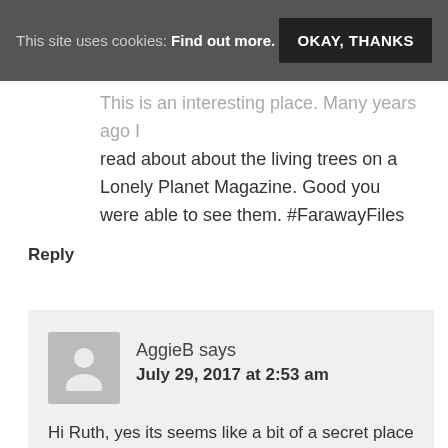This site uses cookies: Find out more. | OKAY, THANKS
This is an interesting place. Many years ago I read about about the living trees on a Lonely Planet Magazine. Good you were able to see them. #FarawayFiles
Reply
AggieB says
July 29, 2017 at 2:53 am
Hi Ruth, yes its seems like a bit of a secret place and I'd only heard of them because I had friends who were living up in Tripura who convinced me I should visit. They